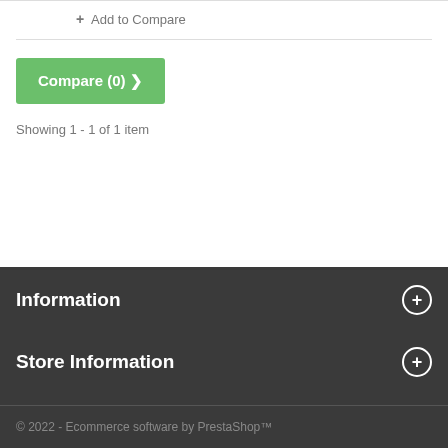+ Add to Compare
Compare (0) >
Showing 1 - 1 of 1 item
Information
Store Information
© 2022 - Ecommerce software by PrestaShop™